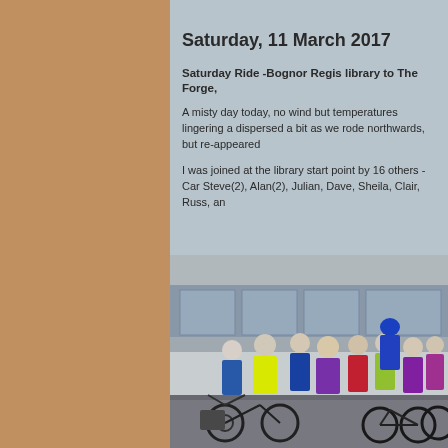Saturday, 11 March 2017
Saturday Ride -Bognor Regis library to The Forge,
A misty day today, no wind but temperatures lingering a dispersed a bit as we rode northwards, but re-appeared
I was joined at the library start point by 16 others - Car Steve(2), Alan(2), Julian, Dave, Sheila, Clair, Russ, an
[Figure (photo): Group of cyclists with helmets posing in front of a building, wearing colorful jackets including yellow, blue, pink, and purple. Bicycles are in the foreground.]